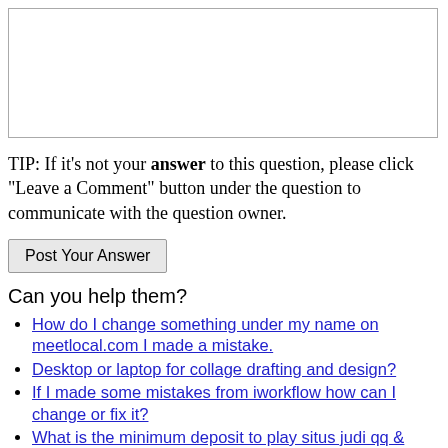[Figure (other): Empty textarea input box for entering an answer]
TIP: If it's not your answer to this question, please click "Leave a Comment" button under the question to communicate with the question owner.
[Figure (other): Post Your Answer button]
Can you help them?
How do I change something under my name on meetlocal.com I made a mistake.
Desktop or laptop for collage drafting and design?
If I made some mistakes from iworkflow how can I change or fix it?
What is the minimum deposit to play situs judi qq & withdraw amount online?
I have filled the form for sbi po 2014 by mistake I made 2 mistakes with photo &sign. can I fill ano
What does the bank do with foreign currency after it is